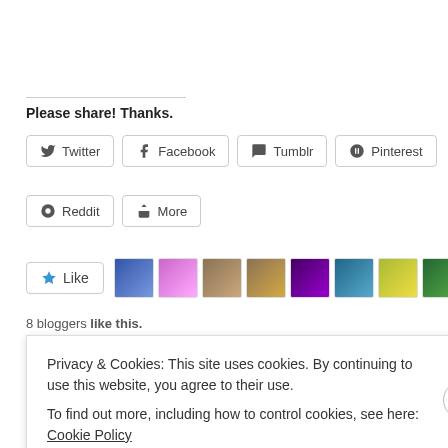Please share! Thanks.
[Figure (screenshot): Social share buttons: Twitter, Facebook, Tumblr, Pinterest, Reddit, More]
[Figure (screenshot): Like button with star icon and 8 blogger avatar thumbnails]
8 bloggers like this.
Related
Privacy & Cookies: This site uses cookies. By continuing to use this website, you agree to their use.
To find out more, including how to control cookies, see here: Cookie Policy
Close and accept